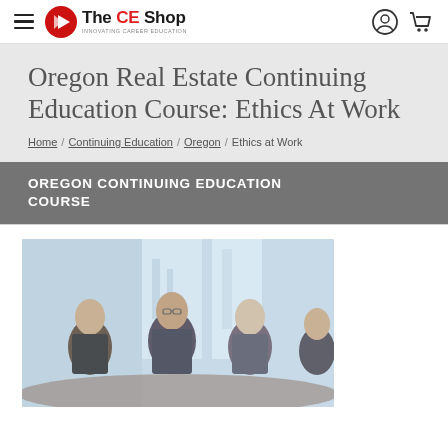The CE Shop — navigation bar with hamburger menu, logo, user icon, and cart icon
Oregon Real Estate Continuing Education Course: Ethics At Work
Home / Continuing Education / Oregon / Ethics at Work
OREGON CONTINUING EDUCATION COURSE
[Figure (photo): Business professionals in a meeting — three people seated at a table in a modern office with large windows, engaged in conversation]